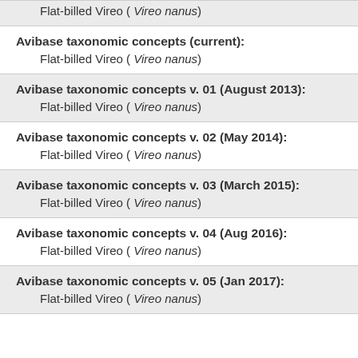Flat-billed Vireo ( Vireo nanus)
Avibase taxonomic concepts (current):
Flat-billed Vireo ( Vireo nanus)
Avibase taxonomic concepts v. 01 (August 2013):
Flat-billed Vireo ( Vireo nanus)
Avibase taxonomic concepts v. 02 (May 2014):
Flat-billed Vireo ( Vireo nanus)
Avibase taxonomic concepts v. 03 (March 2015):
Flat-billed Vireo ( Vireo nanus)
Avibase taxonomic concepts v. 04 (Aug 2016):
Flat-billed Vireo ( Vireo nanus)
Avibase taxonomic concepts v. 05 (Jan 2017):
Flat-billed Vireo ( Vireo nanus)